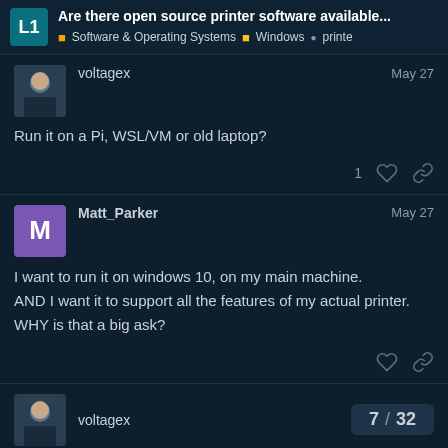Are there open source printer software available... | Software & Operating Systems | Windows | printe
voltagex  May 27
Run it on a Pi, WSL/VM or old laptop?
1 ♡ 🔗
Matt_Parker  May 27
I want to run it on windows 10, on my main machine.
AND I want it to support all the features of my actual printer.
WHY is that a big ask?
♡ 🔗
voltagex  7 / 32